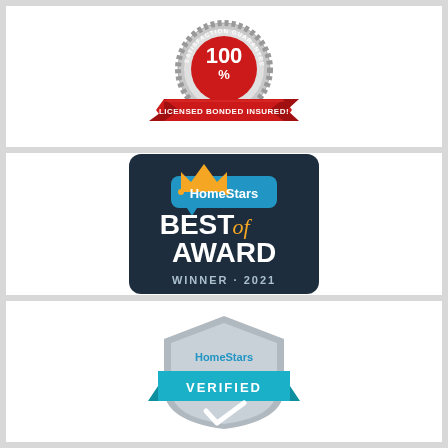[Figure (logo): 100% Satisfaction Guaranteed badge with red ribbon reading LICENSED BONDED INSURED]
[Figure (logo): HomeStars Best of Award Winner 2021 badge on dark navy background with gold crown]
[Figure (logo): HomeStars Verified shield badge in silver/grey with teal ribbon and checkmark]